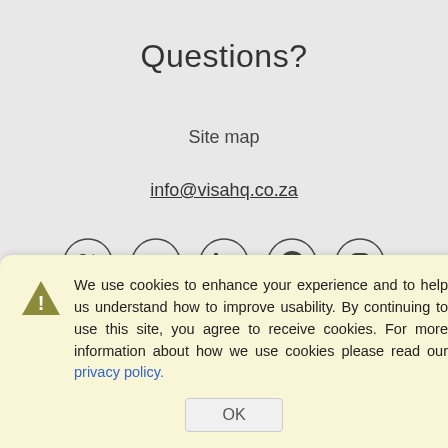Questions?
Site map
info@visahq.co.za
[Figure (infographic): Row of five social media icons in circles: Twitter, Facebook, LinkedIn, Pinterest, Instagram]
We use cookies to enhance your experience and to help us understand how to improve usability. By continuing to use this site, you agree to receive cookies. For more information about how we use cookies please read our privacy policy.